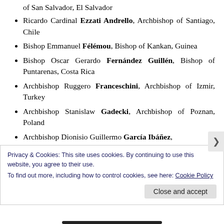of San Salvador, El Salvador
Ricardo Cardinal Ezzati Andrello, Archbishop of Santiago, Chile
Bishop Emmanuel Félémou, Bishop of Kankan, Guinea
Bishop Oscar Gerardo Fernández Guillén, Bishop of Puntarenas, Costa Rica
Archbishop Ruggero Franceschini, Archbishop of Izmir, Turkey
Archbishop Stanislaw Gadecki, Archbishop of Poznan, Poland
Archbishop Dionisio Guillermo García Ibáñez, Archbishop of Santiago de Cuba, Cuba
Privacy & Cookies: This site uses cookies. By continuing to use this website, you agree to their use. To find out more, including how to control cookies, see here: Cookie Policy